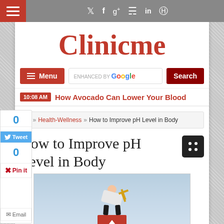≡  ✦ f g+ ⟳ in ⊕
Clinicme
≡ Menu  ENHANCED BY Google  Search
10:08 AM  How Avocado Can Lower Your Blood
⌂ » Health-Wellness » How to Improve pH Level in Body
How to Improve pH Level in Body
[Figure (photo): Person bent over a red box with a wind-up key in their back, against a cloudy sky background]
0
Tweet
0
Pin it
Email